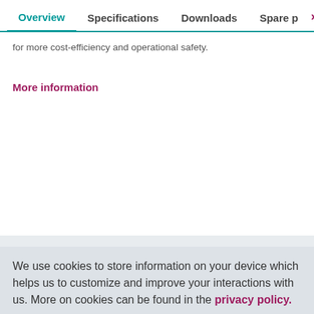Overview  Specifications  Downloads  Spare p  >
for more cost-efficiency and operational safety.
More information
We use cookies to store information on your device which helps us to customize and improve your interactions with us. More on cookies can be found in the privacy policy.
Accept and confirm all
Adapt settings